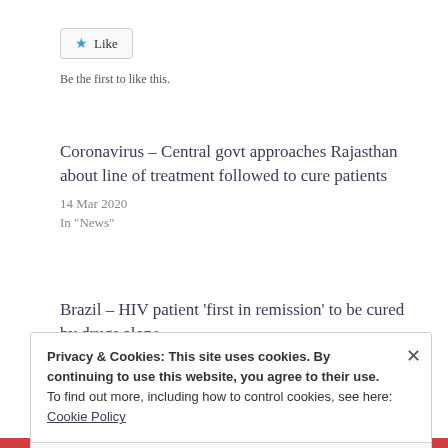[Figure (other): Like button with blue star icon]
Be the first to like this.
Coronavirus – Central govt approaches Rajasthan about line of treatment followed to cure patients
14 Mar 2020
In "News"
Brazil – HIV patient ‘first in remission’ to be cured by drugs alone
10 Jul 2020
Privacy & Cookies: This site uses cookies. By continuing to use this website, you agree to their use.
To find out more, including how to control cookies, see here:
Cookie Policy
Close and accept